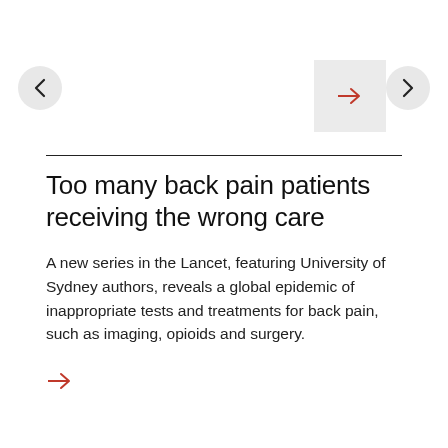Too many back pain patients receiving the wrong care
A new series in the Lancet, featuring University of Sydney authors, reveals a global epidemic of inappropriate tests and treatments for back pain, such as imaging, opioids and surgery.